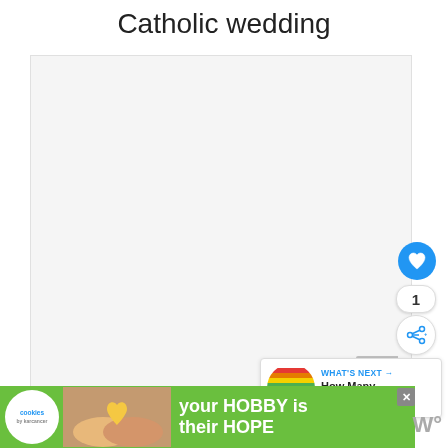Catholic wedding
[Figure (photo): Large blank/white image area representing a Catholic wedding photo placeholder]
[Figure (infographic): UI overlay: heart/like button (blue circle with heart icon), count badge showing '1', share button (circle with share icon)]
[Figure (infographic): What's Next panel with colorful circular thumbnail and text 'WHAT'S NEXT → How Many Yards Of...']
[Figure (infographic): Advertisement banner: 'cookies by karcarcer' logo, photo of hands holding heart-shaped cookie, green background, text 'your HOBBY is their HOPE' with close button]